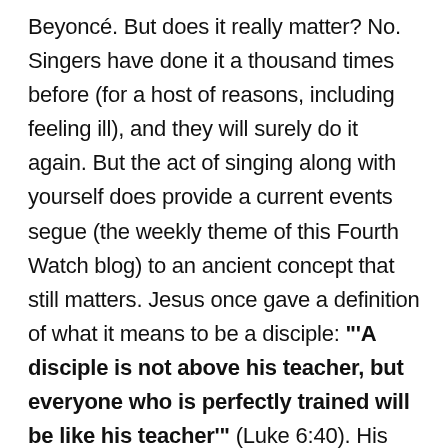Beyoncé. But does it really matter? No. Singers have done it a thousand times before (for a host of reasons, including feeling ill), and they will surely do it again. But the act of singing along with yourself does provide a current events segue (the weekly theme of this Fourth Watch blog) to an ancient concept that still matters. Jesus once gave a definition of what it means to be a disciple: "'A disciple is not above his teacher, but everyone who is perfectly trained will be like his teacher'" (Luke 6:40). His point? If you want to be a disciple, seek to become like your master. And if your Master if the Lord Jesus Christ, then the goal of anyone who desires to follow Him is to be like Him. It's been that way for millennia—the young followers of sages and prophets and masters have ever sought to become like their leader. Jesus says it is to be so for those of us who choose to follow